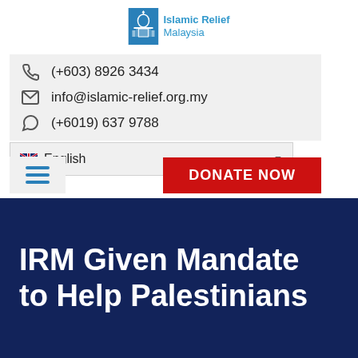[Figure (logo): Islamic Relief Malaysia logo with blue mosque icon and text]
(+603) 8926 3434
info@islamic-relief.org.my
(+6019) 637 9788
🇬🇧 English
DONATE NOW
IRM Given Mandate to Help Palestinians